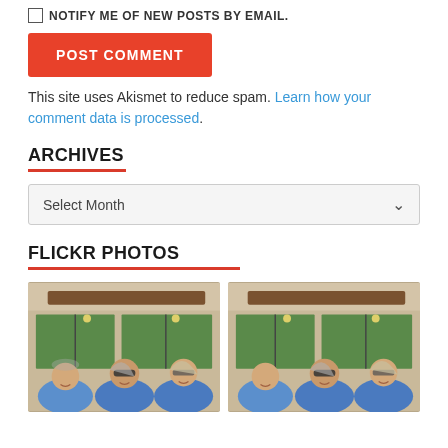☐ NOTIFY ME OF NEW POSTS BY EMAIL.
POST COMMENT
This site uses Akismet to reduce spam. Learn how your comment data is processed.
ARCHIVES
Select Month
FLICKR PHOTOS
[Figure (photo): Two side-by-side photos of three people (two men and a woman with glasses) smiling inside a restaurant with large windows and indoor lighting.]
[Figure (photo): Second photo showing the same three people smiling in the same restaurant setting.]